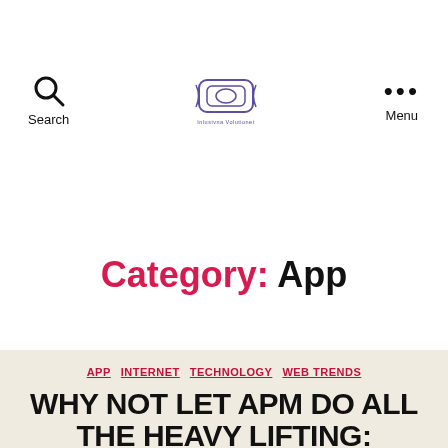Search | Inlusivna Volutionet logo | Menu
Category: App
APP  INTERNET  TECHNOLOGY  WEB TRENDS
WHY NOT LET APM DO ALL THE HEAVY LIFTING: BEYOND THE BASICS OF